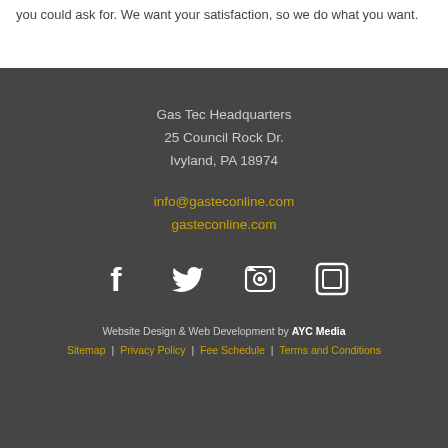you could ask for. We want your satisfaction, so we do what you want.
Gas Tec Headquarters
25 Council Rock Dr.
Ivyland, PA 18974
info@gasteconline.com
gasteconline.com
[Figure (illustration): Four social media icons in white: Facebook, Twitter, Instagram camera, and a square/Vimeo icon, displayed in a row on dark background]
Website Design & Web Development by AYC Media
Sitemap | Privacy Policy | Fee Schedule | Terms and Conditions